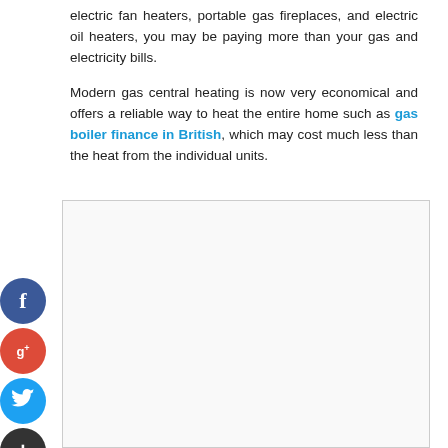electric fan heaters, portable gas fireplaces, and electric oil heaters, you may be paying more than your gas and electricity bills.
Modern gas central heating is now very economical and offers a reliable way to heat the entire home such as gas boiler finance in British, which may cost much less than the heat from the individual units.
[Figure (other): Empty white box with light border, possibly an advertisement or embedded content placeholder]